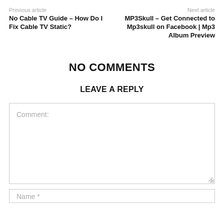Previous article
Next article
No Cable TV Guide – How Do I Fix Cable TV Static?
MP3Skull – Get Connected to Mp3skull on Facebook | Mp3 Album Preview
NO COMMENTS
LEAVE A REPLY
Comment:
Name *